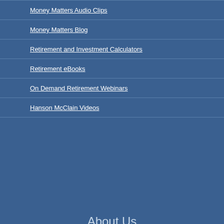Money Matters Audio Clips
Money Matters Blog
Retirement and Investment Calculators
Retirement eBooks
On Demand Retirement Webinars
Hanson McClain Videos
About Us
Hanson McClain Advisors
Who We Are